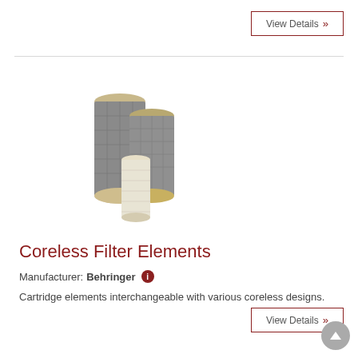View Details »
[Figure (photo): Three coreless filter cartridge elements of varying sizes, cylindrical shaped, with gray metallic mesh exterior and cream/beige end caps, grouped together on white background.]
Coreless Filter Elements
Manufacturer: Behringer ℹ
Cartridge elements interchangeable with various coreless designs.
View Details »